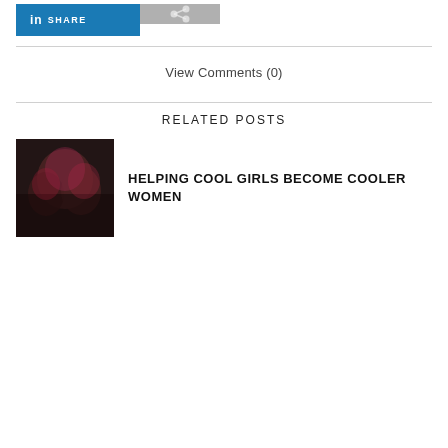[Figure (other): LinkedIn Share button (blue) and a second share button (gray)]
View Comments (0)
RELATED POSTS
[Figure (photo): Blurred photo of group of women, appears to be at a graduation or event with red and pink colors]
HELPING COOL GIRLS BECOME COOLER WOMEN